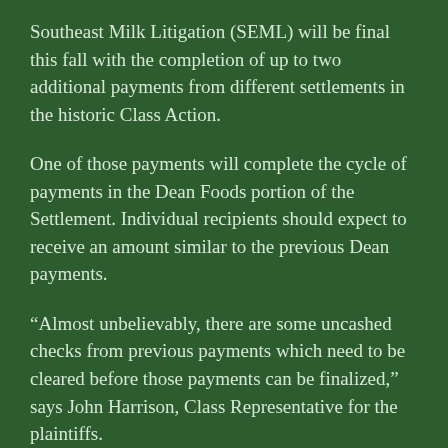Southeast Milk Litigation (SEML) will be final this fall with the completion of up to two additional payments from different settlements in the historic Class Action.
One of those payments will complete the cycle of payments in the Dean Foods portion of the Settlement. Individual recipients should expect to receive an amount similar to the previous Dean payments.
“Almost unbelievably, there are some uncashed checks from previous payments which need to be cleared before those payments can be finalized,” says John Harrison, Class Representative for the plaintiffs.
“Those uncashed checks must be accounted for or reconciled before final payments can be made, since everything must zero out before final closure of the